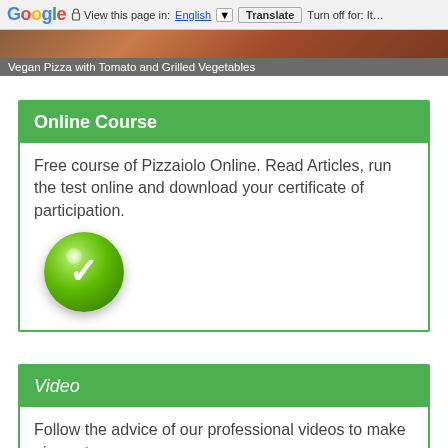Google  View this page in: English  Translate  Turn off for: It…
Vegan Pizza with Tomato and Grilled Vegetables
Online Course
Free course of Pizzaiolo Online. Read Articles, run the test online and download your certificate of participation.
[Figure (illustration): Green glossy ball with white checkmark icon]
Video
Follow the advice of our professional videos to make pizza at home
[Figure (illustration): Green glossy ball with white checkmark icon, partially visible]